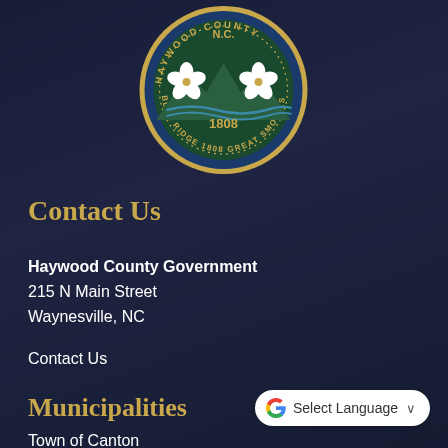[Figure (logo): Haywood County N.C. seal — circular badge with blue background, gold border text reading 'HAYWOOD COUNTY N.C. BLUE RIDGE 1808 GREAT SMOKIES', white dogwood flowers and mountain scene in the center]
Contact Us
Haywood County Government
215 N Main Street
Waynesville, NC
Contact Us
Municipalities
Town of Canton
[Figure (other): Google Translate widget button with Google G logo and 'Select Language' dropdown label]